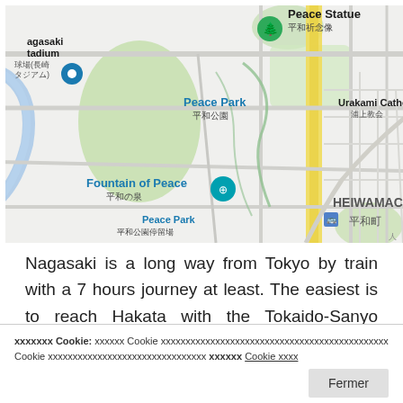[Figure (map): Google Maps screenshot showing Peace Park area in Nagasaki, Japan. Visible labels include: Peace Statue (平和祈念像), Peace Park (平和公園), Fountain of Peace (平和の泉), Nagasaki Stadium (球場(長崎スタジアム)), Urakami Cathedral (浦上教会), HEIWAMACHI 平和町, 平和町商店街, Peace Park 平和公園停留場. Map features roads, green areas, and location pins.]
Nagasaki is a long way from Tokyo by train with a 7 hours journey at least. The easiest is to reach Hakata with the Tokaido-Sanyo Shinkansen (about
xxxxxxx Cookie: xxxxxx Cookie xxxxxxxxxxxxxxxxxxxxxxxxxxxxxxxxxxxxxxxxxxxxxx Cookie xxxxxxxxxxxxxxxxxxxxxxxxxxxxxxxx xxxxxx Cookie xxxx
Another solution is to take a plane. If the regular